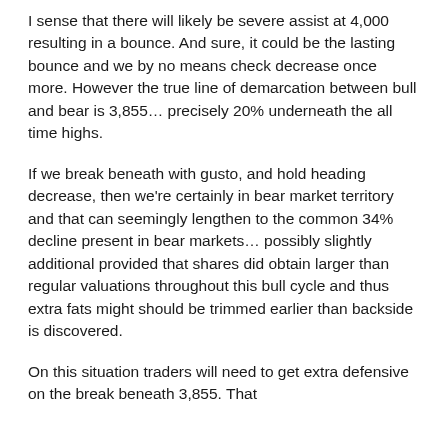I sense that there will likely be severe assist at 4,000 resulting in a bounce. And sure, it could be the lasting bounce and we by no means check decrease once more. However the true line of demarcation between bull and bear is 3,855… precisely 20% underneath the all time highs.
If we break beneath with gusto, and hold heading decrease, then we're certainly in bear market territory and that can seemingly lengthen to the common 34% decline present in bear markets… possibly slightly additional provided that shares did obtain larger than regular valuations throughout this bull cycle and thus extra fats might should be trimmed earlier than backside is discovered.
On this situation traders will need to get extra defensive on the break beneath 3,855. That